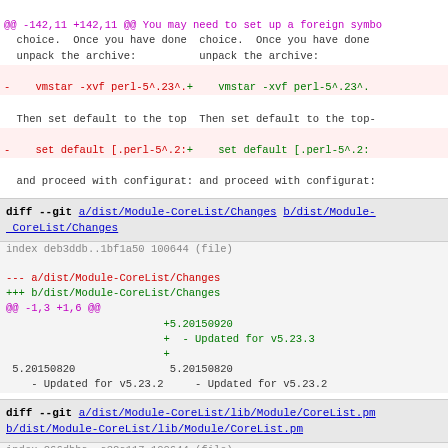@@ -142,11 +142,11 @@ You may need to set up a foreign symbo
  choice.  Once you have done  choice.  Once you have done
  unpack the archive:          unpack the archive:
-    vmstar -xvf perl-5^.23^.+    vmstar -xvf perl-5^.23^.
Then set default to the top-  Then set default to the top-
-    set default [.perl-5^.2:+    set default [.perl-5^.2:
and proceed with configurat:  and proceed with configurat:
diff --git a/dist/Module-CoreList/Changes b/dist/Module-CoreList/Changes
index deb3ddb..1bf1a50 100644 (file)
--- a/dist/Module-CoreList/Changes
+++ b/dist/Module-CoreList/Changes
@@ -1,3 +1,6 @@
                        +5.20150920
                        +  - Updated for v5.23.3
                        +
 5.20150820              5.20150820
    - Updated for v5.23.2    - Updated for v5.23.2
diff --git a/dist/Module-CoreList/lib/Module/CoreList.pm b/dist/Module-CoreList/lib/Module/CoreList.pm
index 266dbba..a32a117 100644 (file)
--- a/dist/Module-CoreList/lib/Module/CoreList.pm
+++ b/dist/Module-CoreList/lib/Module/CoreList.pm
@@ -4,7 +1,7 @@   ($VERSION,%,1 and +%, #5